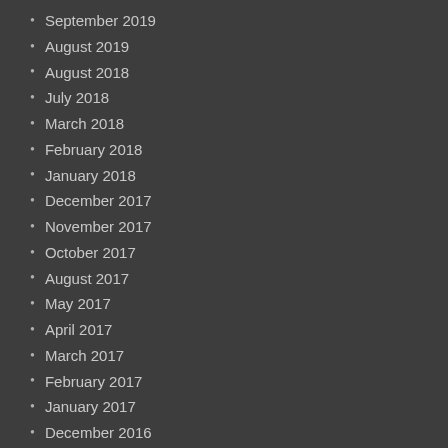September 2019
August 2019
August 2018
July 2018
March 2018
February 2018
January 2018
December 2017
November 2017
October 2017
August 2017
May 2017
April 2017
March 2017
February 2017
January 2017
December 2016
November 2016
September 2016
August 2016
June 2016
May 2016
April 2016